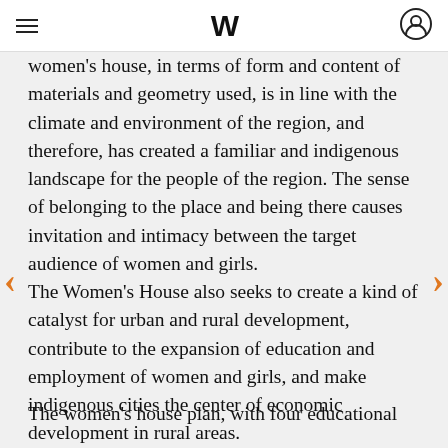W (logo with hamburger menu and user icon)
women's house, in terms of form and content of materials and geometry used, is in line with the climate and environment of the region, and therefore, has created a familiar and indigenous landscape for the people of the region. The sense of belonging to the place and being there causes invitation and intimacy between the target audience of women and girls.
The Women's House also seeks to create a kind of catalyst for urban and rural development, contribute to the expansion of education and employment of women and girls, and make indigenous cities the center of economic development in rural areas.
The women's house plan, with four educational